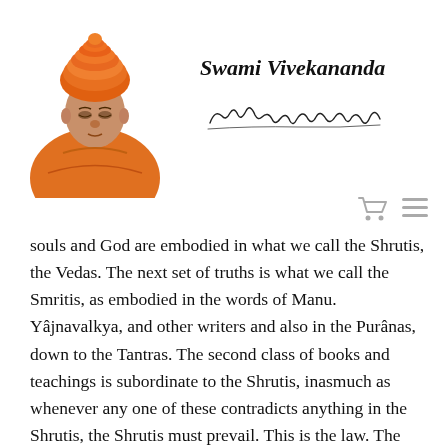[Figure (illustration): Portrait of Swami Vivekananda wearing orange robes and orange turban]
Swami Vivekananda
[Figure (illustration): Handwritten cursive signature reading Swami Vivekananda]
[Figure (other): Shopping cart icon and hamburger menu icon]
souls and God are embodied in what we call the Shrutis, the Vedas. The next set of truths is what we call the Smritis, as embodied in the words of Manu. Yâjnavalkya, and other writers and also in the Purânas, down to the Tantras. The second class of books and teachings is subordinate to the Shrutis, inasmuch as whenever any one of these contradicts anything in the Shrutis, the Shrutis must prevail. This is the law. The idea is that the framework of the destiny and goal of man has been all delineated in the Vedas, the details have been left to be worked out in the Smritis and Puranas. As for